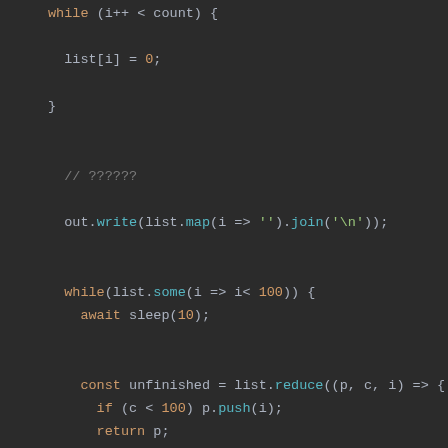while (i++ < count) {
  list[i] = 0;
}

// ??????
out.write(list.map(i => '').join('\n'));

while(list.some(i => i< 100)) {
  await sleep(10);

  const unfinished = list.reduce((p, c, i) => {
    if (c < 100) p.push(i);
    return p;
  }, []);
  const randomIndex = unfinished[Math.floor(Math.
  list[randomIndex] += 1;

  out.write('\u001b[1000D');
  out.write('\u001b[' + count + 'A');